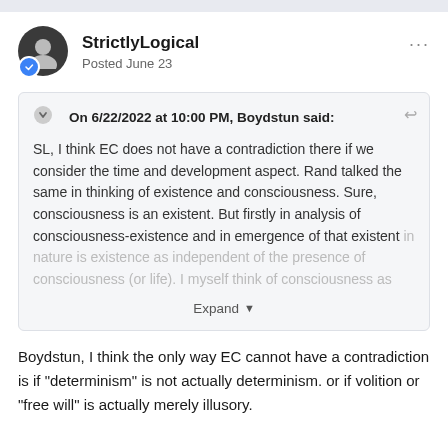StrictlyLogical
Posted June 23
On 6/22/2022 at 10:00 PM, Boydstun said:
SL, I think EC does not have a contradiction there if we consider the time and development aspect. Rand talked the same in thinking of existence and consciousness. Sure, consciousness is an existent. But firstly in analysis of consciousness-existence and in emergence of that existent in nature is existence as independent of the presence of consciousness (or life). I myself think of consciousness as
Expand
Boydstun, I think the only way EC cannot have a contradiction is if "determinism" is not actually determinism. or if volition or "free will" is actually merely illusory.